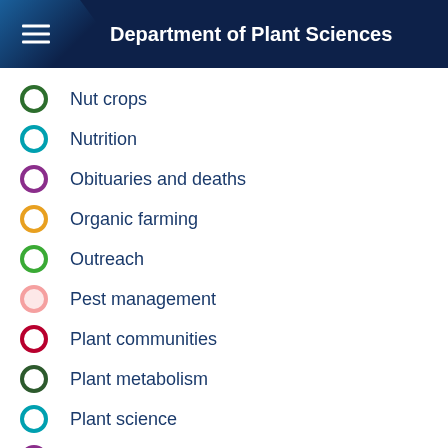Department of Plant Sciences
Nut crops
Nutrition
Obituaries and deaths
Organic farming
Outreach
Pest management
Plant communities
Plant metabolism
Plant science
Poisonous plants